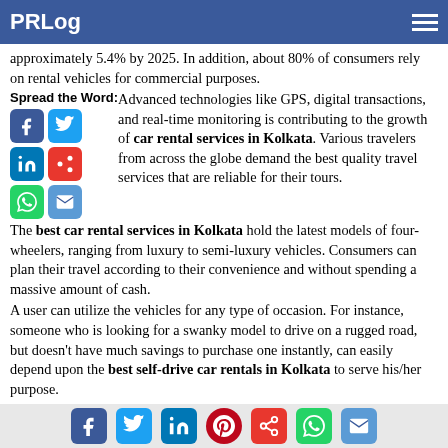PRLog
approximately 5.4% by 2025. In addition, about 80% of consumers rely on rental vehicles for commercial purposes.
Spread the Word: Advanced technologies like GPS, digital transactions, and real-time monitoring is contributing to the growth of car rental services in Kolkata. Various travelers from across the globe demand the best quality travel services that are reliable for their tours.
The best car rental services in Kolkata hold the latest models of four-wheelers, ranging from luxury to semi-luxury vehicles. Consumers can plan their travel according to their convenience and without spending a massive amount of cash.
A user can utilize the vehicles for any type of occasion. For instance, someone who is looking for a swanky model to drive on a rugged road, but doesn't have much savings to purchase one instantly, can easily depend upon the best self-drive car rentals in Kolkata to serve his/her purpose.
By paying a minimum nominal fee, consumers can get access to their dream car and take it for a long drive with their family or friends. Even if it's for a wedding photoshoot or a weekend getaway, vehicle rental providers are just a tap away.
Social share icons: Facebook, Twitter, LinkedIn, Pinterest, Share, WhatsApp, Email